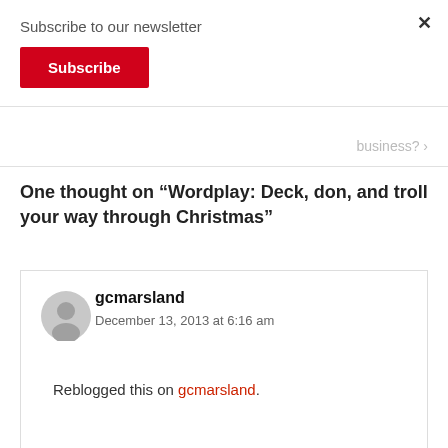Subscribe to our newsletter
Subscribe
×
business? ›
One thought on “Wordplay: Deck, don, and troll your way through Christmas”
gcmarsland
December 13, 2013 at 6:16 am
Reblogged this on gcmarsland.